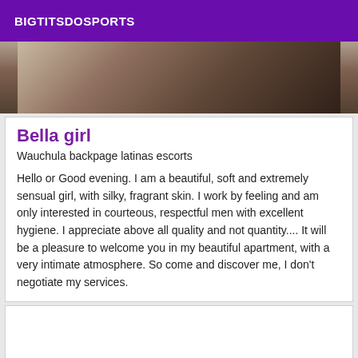BIGTITSDOSPORTS
[Figure (photo): Partial photo of a person, cropped showing upper body area with blurred/dark background]
Bella girl
Wauchula backpage latinas escorts
Hello or Good evening. I am a beautiful, soft and extremely sensual girl, with silky, fragrant skin. I work by feeling and am only interested in courteous, respectful men with excellent hygiene. I appreciate above all quality and not quantity.... It will be a pleasure to welcome you in my beautiful apartment, with a very intimate atmosphere. So come and discover me, I don't negotiate my services.